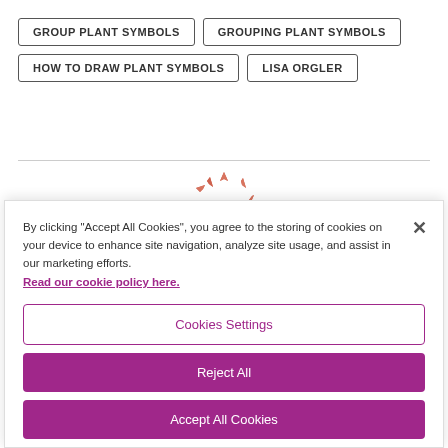GROUP PLANT SYMBOLS
GROUPING PLANT SYMBOLS
HOW TO DRAW PLANT SYMBOLS
LISA ORGLER
[Figure (logo): Circular decorative logo made of small red/salmon diamond and arrow shapes arranged in a ring pattern]
By clicking “Accept All Cookies”, you agree to the storing of cookies on your device to enhance site navigation, analyze site usage, and assist in our marketing efforts.
Read our cookie policy here.
Cookies Settings
Reject All
Accept All Cookies